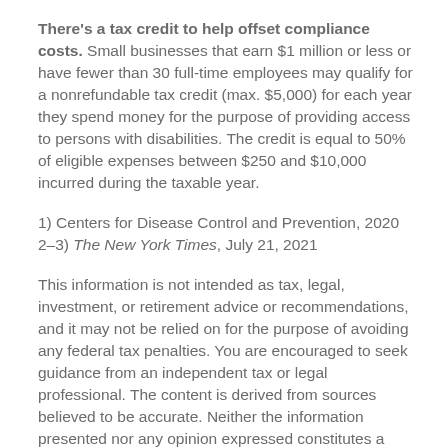There's a tax credit to help offset compliance costs. Small businesses that earn $1 million or less or have fewer than 30 full-time employees may qualify for a nonrefundable tax credit (max. $5,000) for each year they spend money for the purpose of providing access to persons with disabilities. The credit is equal to 50% of eligible expenses between $250 and $10,000 incurred during the taxable year.
1) Centers for Disease Control and Prevention, 2020 2–3) The New York Times, July 21, 2021
This information is not intended as tax, legal, investment, or retirement advice or recommendations, and it may not be relied on for the purpose of avoiding any federal tax penalties. You are encouraged to seek guidance from an independent tax or legal professional. The content is derived from sources believed to be accurate. Neither the information presented nor any opinion expressed constitutes a solicitation for the